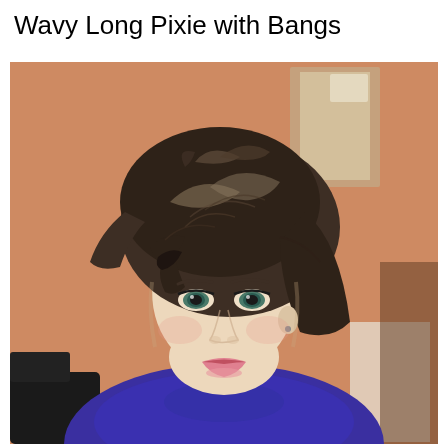Wavy Long Pixie with Bangs
[Figure (photo): A woman with a wavy long pixie haircut with bangs. Her hair is dark brown with lighter highlights, styled in a voluminous swept-back pixie cut with side-swept bangs. She has blue-green eyes, fair skin, and is wearing a blue top. The background is an orange-tan wall with what appears to be a mirror and white board visible.]